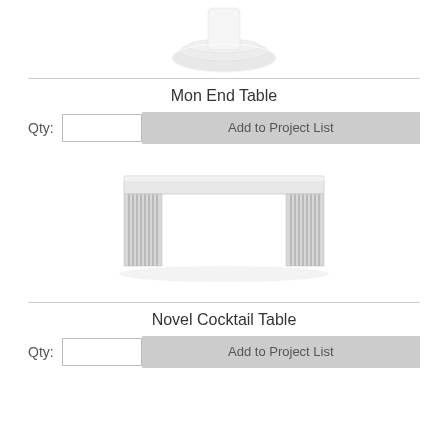[Figure (photo): Bottom portion of a white lamp base with a circular base/foot visible at the top of the page]
Mon End Table
Qty:  [input]  Add to Project List
[Figure (photo): Novel Cocktail Table - a modern bench/table with vertical metal slat sides and a flat top surface, in silver/chrome finish]
Novel Cocktail Table
Qty:  [input]  Add to Project List